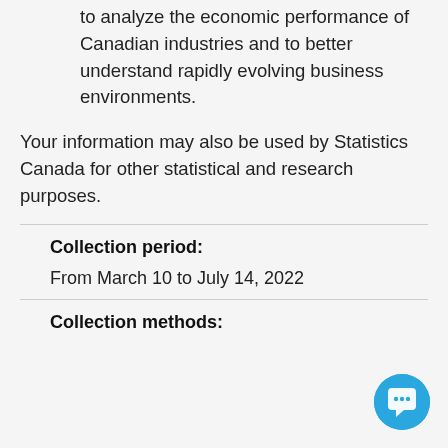to analyze the economic performance of Canadian industries and to better understand rapidly evolving business environments.
Your information may also be used by Statistics Canada for other statistical and research purposes.
Collection period:
From March 10 to July 14, 2022
Collection methods: